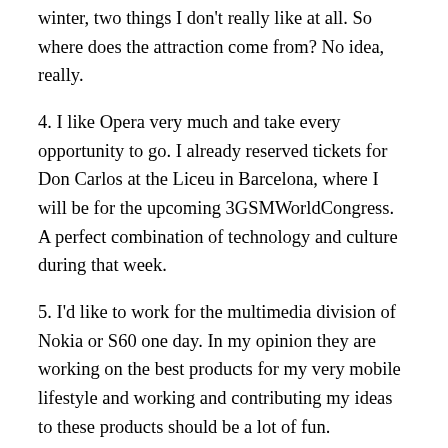winter, two things I don't really like at all. So where does the attraction come from? No idea, really.
4. I like Opera very much and take every opportunity to go. I already reserved tickets for Don Carlos at the Liceu in Barcelona, where I will be for the upcoming 3GSMWorldCongress. A perfect combination of technology and culture during that week.
5. I'd like to work for the multimedia division of Nokia or S60 one day. In my opinion they are working on the best products for my very mobile lifestyle and working and contributing my ideas to these products should be a lot of fun.
At this point I should name another five people for their turn to tell five things about them. However, most people in my bloggroll have already done so. So  instead I recommend to read Tommi's five things on his S60 blog, they are truly the strangest and craziest ones I have read so far!